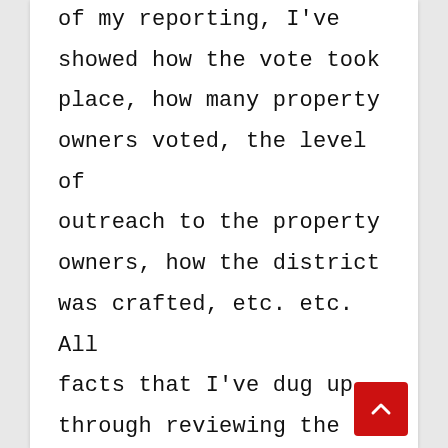of my reporting, I've showed how the vote took place, how many property owners voted, the level of outreach to the property owners, how the district was crafted, etc. etc. All facts that I've dug up through reviewing the law and extensive public records, as well as interviews with those like Marco Li Mandri. All you have to do is read the many stories I've